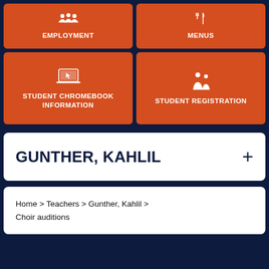[Figure (infographic): Orange tile with group/people icon and label EMPLOYMENT]
[Figure (infographic): Orange tile with fork and knife icon and label MENUS]
[Figure (infographic): Orange tile with laptop/chromebook icon and label STUDENT CHROMEBOOK INFORMATION]
[Figure (infographic): Orange tile with parent and child icon and label STUDENT REGISTRATION]
GUNTHER, KAHLIL
Home > Teachers > Gunther, Kahlil > Choir auditions